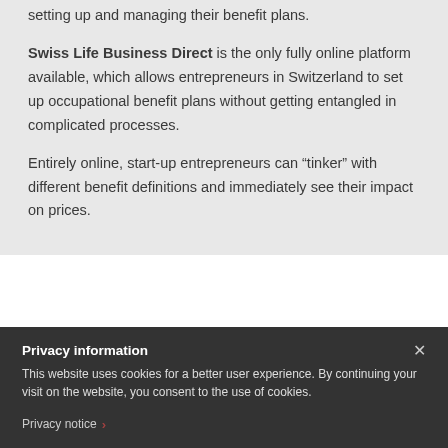setting up and managing their benefit plans.
Swiss Life Business Direct is the only fully online platform available, which allows entrepreneurs in Switzerland to set up occupational benefit plans without getting entangled in complicated processes.
Entirely online, start-up entrepreneurs can “tinker” with different benefit definitions and immediately see their impact on prices.
Privacy information
This website uses cookies for a better user experience. By continuing your visit on the website, you consent to the use of cookies.
Privacy notice >